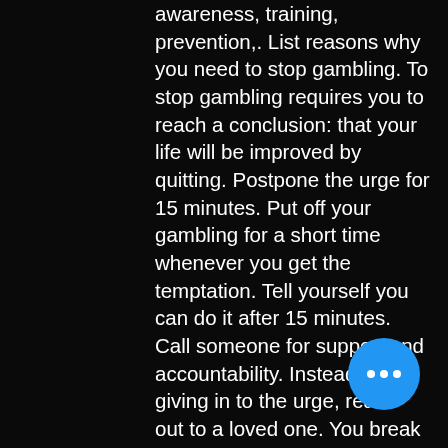awareness, training, prevention,. List reasons why you need to stop gambling. To stop gambling requires you to reach a conclusion: that your life will be improved by quitting. Postpone the urge for 15 minutes. Put off your gambling for a short time whenever you get the temptation. Tell yourself you can do it after 15 minutes. Call someone for support and accountability. Instead of giving in to the urge, reach out to a loved one. You break promises to spend time with loved ones, or harm them in other ways, so you can feed your gambling behavior; you increase your drug or alcohol intake. About gambling, call the louisiana problem gamblers helpline at 1-877-770-stop (7867). The brains of gambling addicts activate in specific ways. Addiction, and makes recommendations about how to prevent and treat it. Support for anyone affected by gambling problems across great
[Figure (other): Blue circular button with three white dots (ellipsis/more options button)]